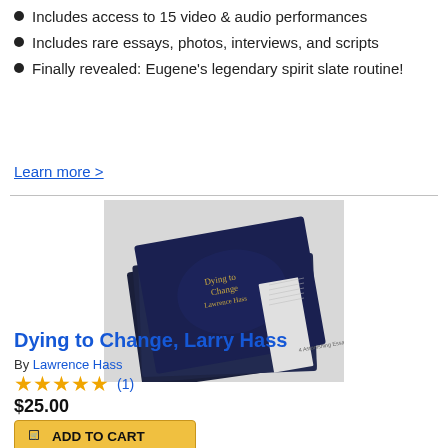Includes access to 15 video & audio performances
Includes rare essays, photos, interviews, and scripts
Finally revealed: Eugene's legendary spirit slate routine!
Learn more >
[Figure (photo): Stack of dark navy hardcover books titled 'Dying to Change' by Lawrence Hass, photographed at an angle on a light background]
Dying to Change, Larry Hass
By Lawrence Hass
★★★★★ (1)
$25.00
ADD TO CART